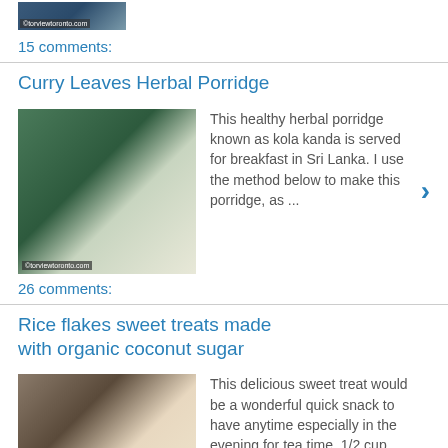[Figure (photo): Small thumbnail image from torviewtoronto.com]
15 comments:
Curry Leaves Herbal Porridge
[Figure (photo): Photo of green herbal porridge drink in cups, watermarked torviewtoronto.com]
This healthy herbal porridge known as kola kanda is served for breakfast in Sri Lanka. I use the method below to make this porridge, as ...
26 comments:
Rice flakes sweet treats made with organic coconut sugar
[Figure (photo): Photo of rice flake sweet treat balls on a plate, watermarked torviewtoronto.com]
This delicious sweet treat would be a wonderful quick snack to have anytime especially in the evening for tea time. 1/2 cup Rice flake...
22 comments:
Mejadra rice from the fabulous